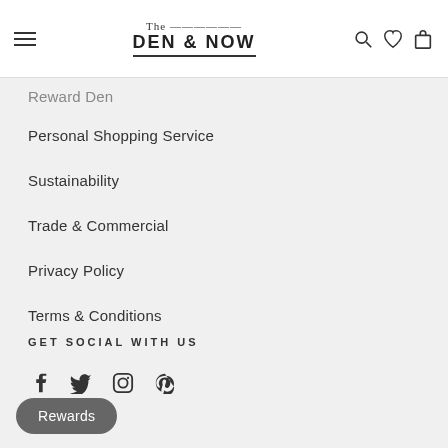[Figure (logo): The Den & Now logo with hamburger menu, search, heart, and bag icons in header]
Reward Den
Personal Shopping Service
Sustainability
Trade & Commercial
Privacy Policy
Terms & Conditions
GET SOCIAL WITH US
[Figure (illustration): Social media icons: Facebook, Twitter, Instagram, Pinterest]
Rewards